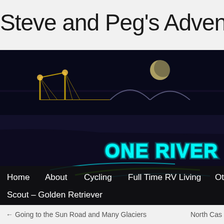Steve and Peg's Adventu
[Figure (photo): Nighttime photo of a boat with glowing neon cyan text reading 'ONE RIVER' on its side, with green and cyan light streaks on the water, a bridge with lights in the background, and a moon visible in the sky. Navigation menu overlay at bottom with items: Home, About, Cycling, Full Time RV Living, Oth, Scout – Golden Retriever]
← Going to the Sun Road and Many Glaciers    North Cas